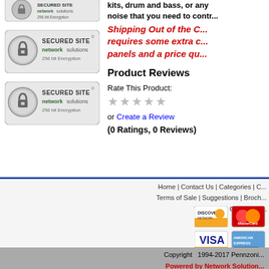[Figure (logo): Network Solutions Secured Site 256-bit Encryption badge (top, partially visible)]
[Figure (logo): Network Solutions Secured Site 256-bit Encryption badge (middle)]
kits, drum and bass, or any noise that you need to contr...
Shipping Out of the C... requires some extra c... panels and a price qu...
Product Reviews
Rate This Product:
[Figure (other): 5-star rating widget (empty stars)]
or Create a Review
(0 Ratings, 0 Reviews)
Home | Contact Us | Categories | C... Terms of Sale | Suggestions | Broch...
We Accept Credit Car...
[Figure (logo): Discover, MasterCard, Visa, American Express credit card logos]
[Figure (logo): PayPal logo]
Copyright  1994-2017 Pennzoni... Powered by Network Solution...